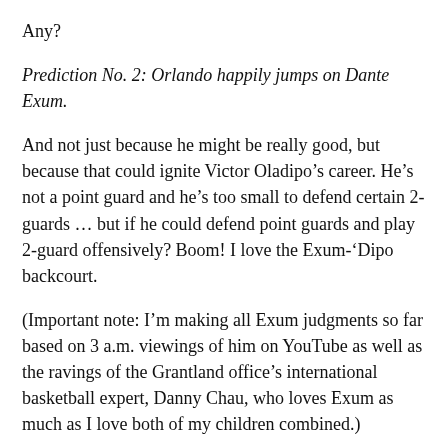Any?
Prediction No. 2: Orlando happily jumps on Dante Exum.
And not just because he might be really good, but because that could ignite Victor Oladipo’s career. He’s not a point guard and he’s too small to defend certain 2-guards … but if he could defend point guards and play 2-guard offensively? Boom! I love the Exum-‘Dipo backcourt.
(Important note: I’m making all Exum judgments so far based on 3 a.m. viewings of him on YouTube as well as the ravings of the Grantland office’s international basketball expert, Danny Chau, who loves Exum as much as I love both of my children combined.)
Prediction No. 3: If the Celtics don’t trade their pick, they’re taking Shawn Marion 2.0 (a.k.a. Aaron Gordon).